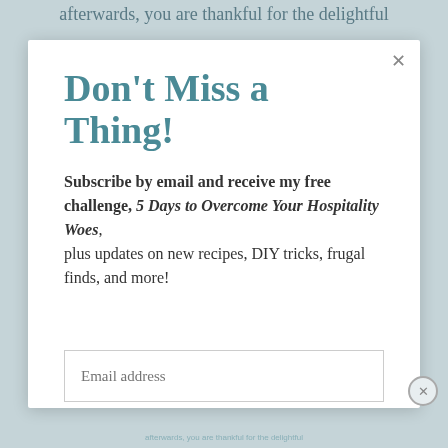afterwards, you are thankful for the delightful
Don't Miss a Thing!
Subscribe by email and receive my free challenge, 5 Days to Overcome Your Hospitality Woes, plus updates on new recipes, DIY tricks, frugal finds, and more!
Email address
SUBSCRIBE